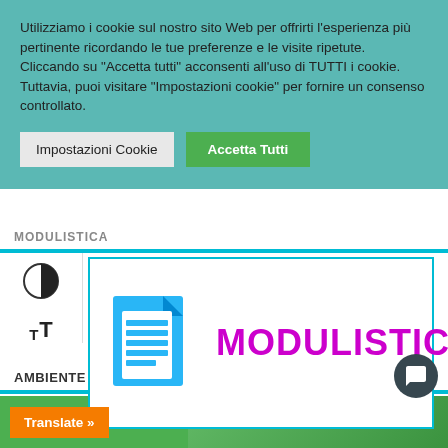Utilizziamo i cookie sul nostro sito Web per offrirti l'esperienza più pertinente ricordando le tue preferenze e le visite ripetute. Cliccando su "Accetta tutti" acconsenti all'uso di TUTTI i cookie. Tuttavia, puoi visitare "Impostazioni cookie" per fornire un consenso controllato.
[Figure (screenshot): Two buttons: 'Impostazioni Cookie' (grey) and 'Accetta Tutti' (green)]
MODULISTICA
[Figure (illustration): Card with blue document icon and magenta text 'MODULISTICA']
AMBIENTE
[Figure (screenshot): Orange 'Translate »' button and green background strip at bottom]